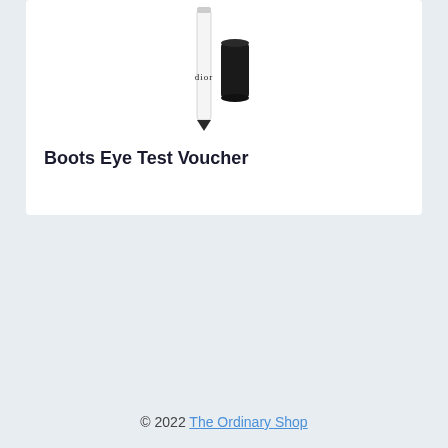[Figure (photo): Product image of a Dior eyeliner pencil (white slim pen with 'Dior' text) alongside a black cylindrical cap, shown against a white background]
Boots Eye Test Voucher
© 2022 The Ordinary Shop